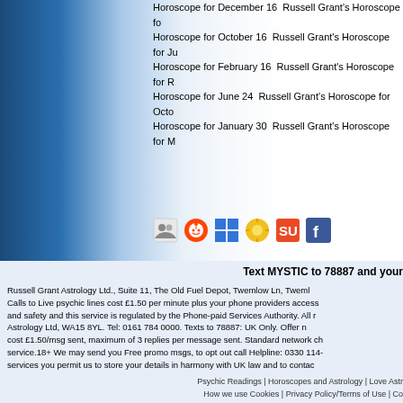Horoscope for December 16  Russell Grant's Horoscope fo... Horoscope for October 16  Russell Grant's Horoscope for Ju... Horoscope for February 16  Russell Grant's Horoscope for R... Horoscope for June 24  Russell Grant's Horoscope for Octo... Horoscope for January 30  Russell Grant's Horoscope for M...
[Figure (infographic): Social sharing icons: a people/groups icon, Reddit alien icon, Delicious blue squares, a sun/star icon, StumbleUpon icon, and Facebook icon]
Text MYSTIC to 78887 and your
Russell Grant Astrology Ltd., Suite 11, The Old Fuel Depot, Twemlow Ln, Tweml... Calls to Live psychic lines cost £1.50 per minute plus your phone providers access... and safety and this service is regulated by the Phone-paid Services Authority. All r... Astrology Ltd, WA15 8YL. Tel: 0161 784 0000. Texts to 78887: UK Only. Offer n... cost £1.50/msg sent, maximum of 3 replies per message sent. Standard network ch... service.18+ We may send you Free promo msgs, to opt out call Helpline: 0330 114-... services you permit us to store your details in harmony with UK law and to contac...
Psychic Readings | Horoscopes and Astrology | Love Astr... How we use Cookies | Privacy Policy/Terms of Use | Co...